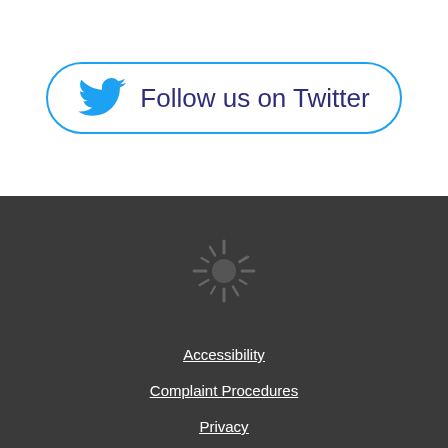[Figure (illustration): Twitter follow button with Twitter bird logo in blue and text 'Follow us on Twitter' in dark blue/indigo, inside a rounded rectangle border]
[Figure (illustration): Loading spinner / sunburst circular icon on dark grey background]
Accessibility
Complaint Procedures
Privacy
Terms & Conditions